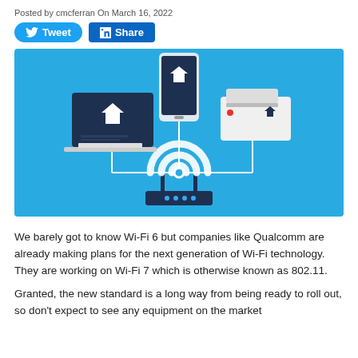Posted by cmcferran On March 16, 2022
[Figure (illustration): Infographic showing a Wi-Fi router connected wirelessly to a laptop, smartphone, and printer, all on a blue background with Wi-Fi signal arcs.]
We barely got to know Wi-Fi 6 but companies like Qualcomm are already making plans for the next generation of Wi-Fi technology. They are working on Wi-Fi 7 which is otherwise known as 802.11.
Granted, the new standard is a long way from being ready to roll out, so don't expect to see any equipment on the market